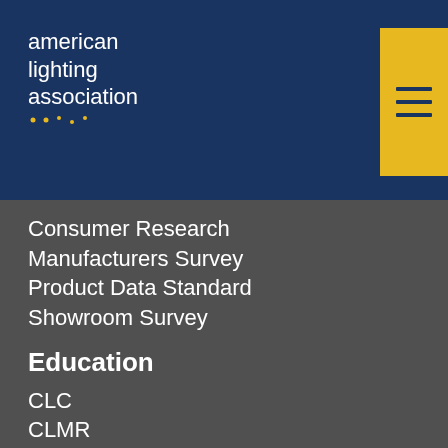american lighting association
Consumer Research
Manufacturers Survey
Product Data Standard
Showroom Survey
Education
CLC
CLMR
LS
LA
Free Training
Live Training
Sales Training